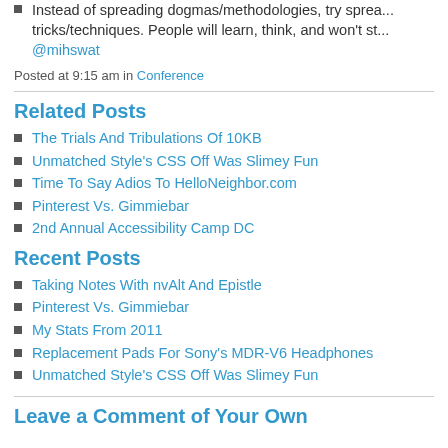Instead of spreading dogmas/methodologies, try spreading tricks/techniques. People will learn, think, and won't st... @mihswat
Posted at 9:15 am in Conference
Related Posts
The Trials And Tribulations Of 10KB
Unmatched Style's CSS Off Was Slimey Fun
Time To Say Adios To HelloNeighbor.com
Pinterest Vs. Gimmiebar
2nd Annual Accessibility Camp DC
Recent Posts
Taking Notes With nvAlt And Epistle
Pinterest Vs. Gimmiebar
My Stats From 2011
Replacement Pads For Sony's MDR-V6 Headphones
Unmatched Style's CSS Off Was Slimey Fun
Leave a Comment of Your Own